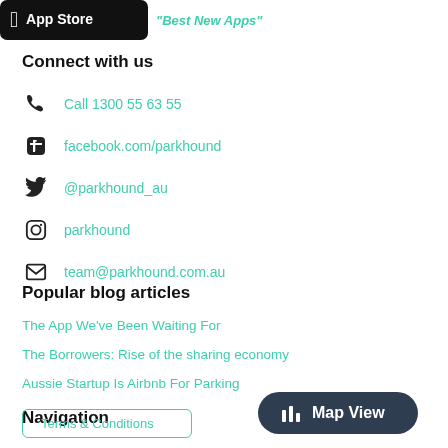[Figure (logo): App Store download button with Apple logo and 'Best New Apps' handwritten text in teal]
Connect with us
Call 1300 55 63 55
facebook.com/parkhound
@parkhound_au
parkhound
team@parkhound.com.au
Popular blog articles
The App We've Been Waiting For
The Borrowers: Rise of the sharing economy
Aussie Startup Is Airbnb For Parking
Navigation
Terms & Conditions
[Figure (screenshot): Map View button (dark rounded rectangle with bar chart icon)]